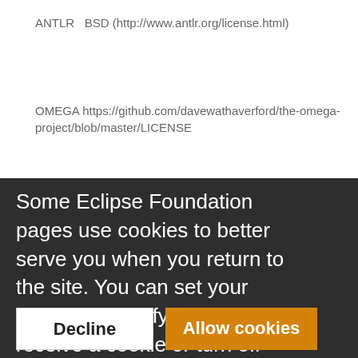ANTLR  BSD (http://www.antlr.org/license.html)
OMEGA https://github.com/davewathaverford/the-omega-project/blob/master/LICENSE
Some Eclipse Foundation pages use cookies to better serve you when you return to the site. You can set your browser to notify you before you receive a cookie or turn off cookies. If you do so, however, some areas of some sites may not function properly. To read Eclipse Foundation Privacy Policy click here.
Decline
Allow cookies
Titan gateway in order to offer a complete MBT tool chain. This integration will be based on a TTCN-3 successor called it